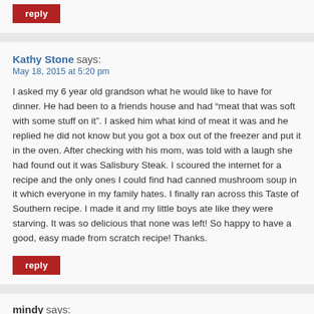reply
Kathy Stone says:
May 18, 2015 at 5:20 pm
I asked my 6 year old grandson what he would like to have for dinner. He had been to a friends house and had “meat that was soft with some stuff on it”. I asked him what kind of meat it was and he replied he did not know but you got a box out of the freezer and put it in the oven. After checking with his mom, was told with a laugh she had found out it was Salisbury Steak. I scoured the internet for a recipe and the only ones I could find had canned mushroom soup in it which everyone in my family hates. I finally ran across this Taste of Southern recipe. I made it and my little boys ate like they were starving. It was so delicious that none was left! So happy to have a good, easy made from scratch recipe! Thanks.
reply
mindy says:
May 12, 2015 at 7:09 pm